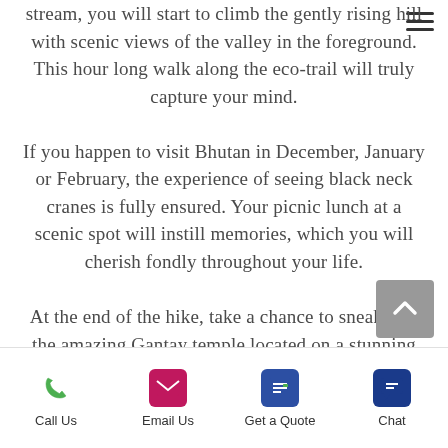stream, you will start to climb the gently rising hill with scenic views of the valley in the foreground. This hour long walk along the eco-trail will truly capture your mind. If you happen to visit Bhutan in December, January or February, the experience of seeing black neck cranes is fully ensured. Your picnic lunch at a scenic spot will instill memories, which you will cherish fondly throughout your life. At the end of the hike, take a chance to sneak into the amazing Gantay temple located on a stunning ridge overlooking the valley. The view from this spiritual powerhouse is beyond description. Inside the temple, explore the rich history and traditions of Gangtey district by...
Call Us | Email Us | Get a Quote | Chat